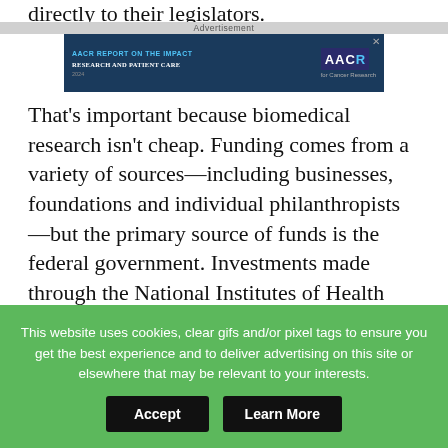directly to their legislators.
[Figure (other): Advertisement banner showing AACR Report on the Impact of Cancer Research and Patient Care with AAG logo]
That’s important because biomedical research isn’t cheap. Funding comes from a variety of sources—including businesses, foundations and individual philanthropists—but the primary source of funds is the federal government. Investments made through the National Institutes of Health (NIH) and the National Cancer Institute (NCI) have made possible many of the breakthroughs in cancer medicine. Yet, continued funding at a sufficient level is in peril.
[Figure (other): Advertisement placeholder showing partial image of a person]
This website uses cookies, clear gifs and/or pixel tags to ensure you get the best experience and to deliver advertising on this site or elsewhere that may be relevant to your interests.